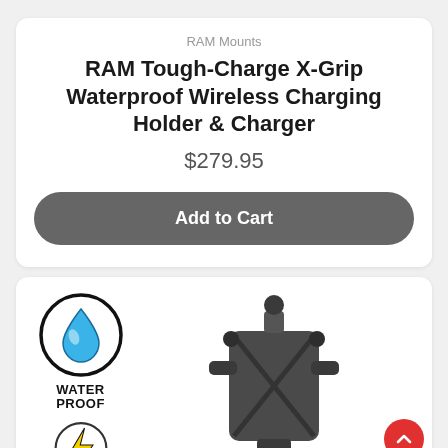RAM Mounts
RAM Tough-Charge X-Grip Waterproof Wireless Charging Holder & Charger
$279.95
Add to Cart
[Figure (illustration): Water Proof badge icon: a water droplet (blue gradient) inside a black circle ring with 'WATER PROOF' text below]
[Figure (illustration): Lightning bolt / charging icon inside a circle (partial view at bottom)]
[Figure (photo): RAM Tough-Charge X-Grip phone holder and charger product photo, dark grey/black color, showing the grip arms extended]